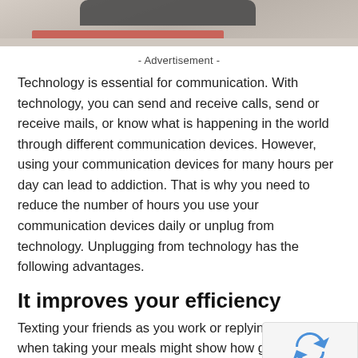[Figure (photo): Top portion of a photo showing a phone resting on a salmon/pink colored book on a textured white/cream carpet or fabric surface. Only the bottom portion of the photo is visible.]
- Advertisement -
Technology is essential for communication. With technology, you can send and receive calls, send or receive mails, or know what is happening in the world through different communication devices. However, using your communication devices for many hours per day can lead to addiction. That is why you need to reduce the number of hours you use your communication devices daily or unplug from technology. Unplugging from technology has the following advantages.
It improves your efficiency
Texting your friends as you work or replying to your when taking your meals might show how good you are at